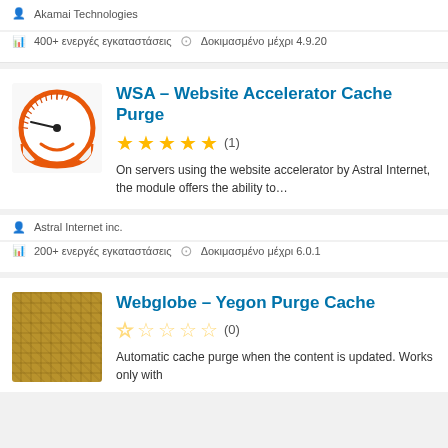Akamai Technologies
400+ ενεργές εγκαταστάσεις   Δοκιμασμένο μέχρι 4.9.20
[Figure (illustration): Speedometer/gauge icon with orange circle border and needle pointing left, logo for WSA plugin]
WSA – Website Accelerator Cache Purge
★★★★★ (1)
On servers using the website accelerator by Astral Internet, the module offers the ability to…
Astral Internet inc.
200+ ενεργές εγκαταστάσεις   Δοκιμασμένο μέχρι 6.0.1
[Figure (illustration): Plaid/tartan patterned square image in brown/gold tones, thumbnail for Webglobe plugin]
Webglobe – Yegon Purge Cache
☆☆☆☆☆ (0)
Automatic cache purge when the content is updated. Works only with …